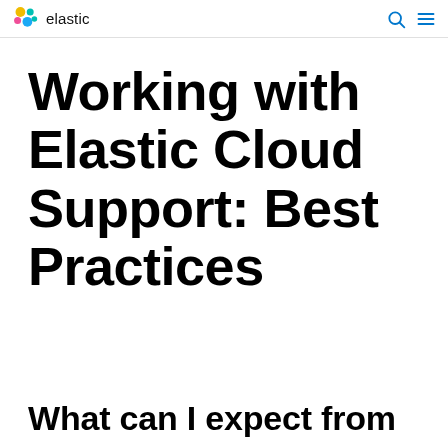elastic
Working with Elastic Cloud Support: Best Practices
What can I expect from